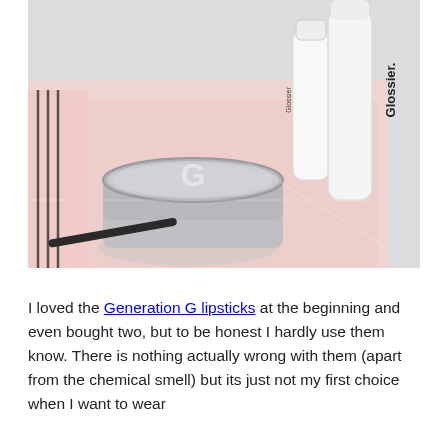[Figure (photo): A flatlay photograph of Glossier beauty products on a pink surface: a silver compact jar with Glossier 'G' logo and two white cylindrical Glossier branded bottles/containers against a light grey-white background.]
I loved the Generation G lipsticks at the beginning and even bought two, but to be honest I hardly use them know. There is nothing actually wrong with them (apart from the chemical smell) but its just not my first choice when I want to wear